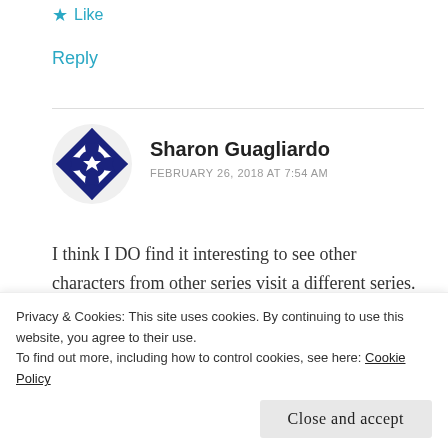★ Like
Reply
Sharon Guagliardo
FEBRUARY 26, 2018 AT 7:54 AM
I think I DO find it interesting to see other characters from other series visit a different series. It's always fun to see an old friend again.
★ Liked by 1 person
Privacy & Cookies: This site uses cookies. By continuing to use this website, you agree to their use.
To find out more, including how to control cookies, see here: Cookie Policy
Close and accept